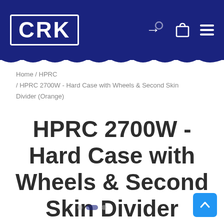CRK
Home / HPRC / HPRC 2700W - Hard Case with Wheels & Second Skin Divider (Orange)
HPRC 2700W - Hard Case with Wheels & Second Skin Divider (Orange)